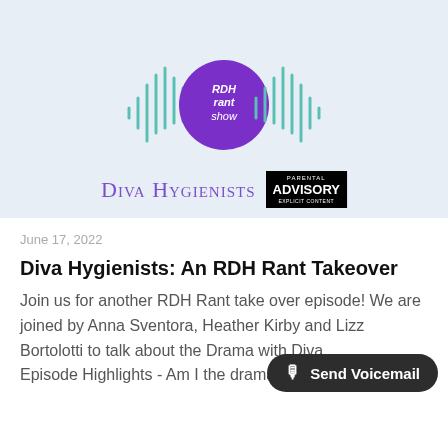[Figure (logo): RDH Rant Show podcast logo with arc text 'A Take over with' in purple, sound wave illustration in teal/mint, purple circle with 'RDH rant show' text, 'Diva Hygienists' in purple small-caps font, and a Parental Advisory Explicit Content badge]
June 17, 2022
Diva Hygienists: An RDH Rant Takeover
Join us for another RDH Rant take over episode! We are joined by Anna Sventora, Heather Kirby and Lizz Bortolotti to talk about the Drama with Diva... Episode Highlights - Am I the drama?  Diva